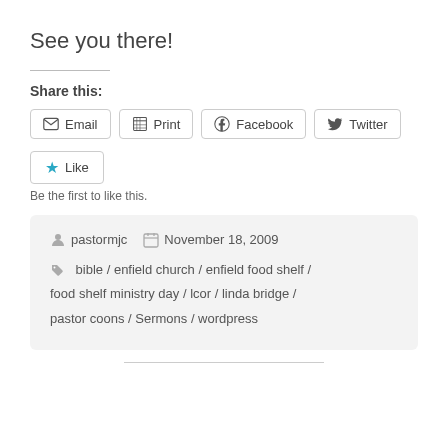See you there!
Share this:
Email  Print  Facebook  Twitter
Like  Be the first to like this.
pastormjc  November 18, 2009  bible / enfield church / enfield food shelf / food shelf ministry day / lcor / linda bridge / pastor coons / Sermons / wordpress